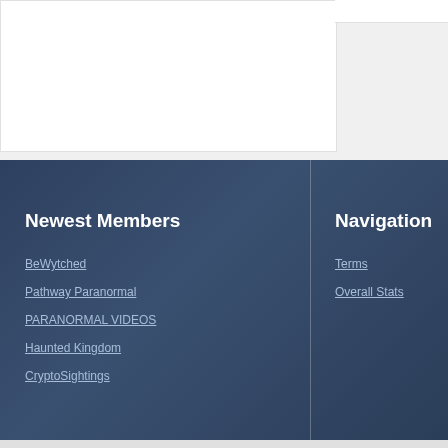Newest Members
BeWytched
Pathway Paranormal
PARANORMAL VIDEOS
Haunted Kingdom
CryptoSightings
Navigation
Terms
Overall Stats